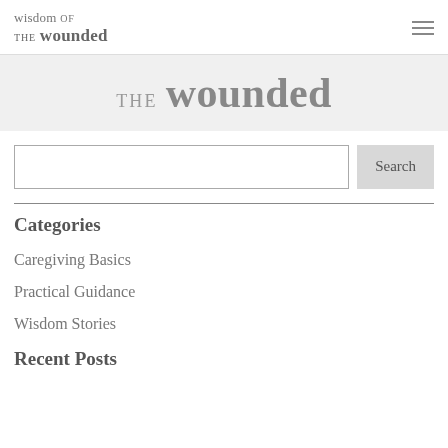wisdom of the wounded
THE wounded
Search
Categories
Caregiving Basics
Practical Guidance
Wisdom Stories
Recent Posts